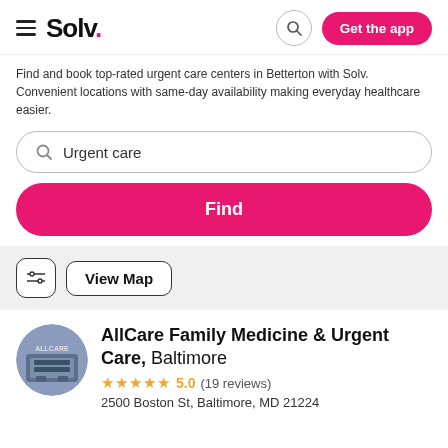Solv. — Get the app
Find and book top-rated urgent care centers in Betterton with Solv. Convenient locations with same-day availability making everyday healthcare easier.
Urgent care
Find
View Map
AllCare Family Medicine & Urgent Care, Baltimore
★★★★★ 5.0 (19 reviews)
2500 Boston St, Baltimore, MD 21224